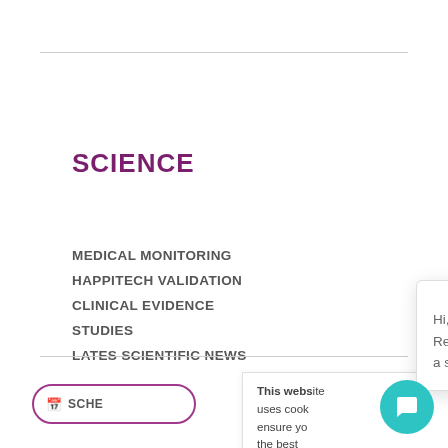SCIENCE
MEDICAL MONITORING
HAPPITECH VALIDATION
CLINICAL EVIDENCE
STUDIES
LATES SCIENTIFIC NEWS
This website uses cookies to ensure you get the best experience. Read more
[Figure (screenshot): Chat popup with avatar photo of Maisy and message: Hi, I'm Maisy. Welcome to Happitech, Remote Vital Signs Monitoring - using only a smartphone camera. With a close (X) button.]
Hi, I'm Maisy. Welcome to Happitech, Remote Vital Signs Monitoring - using only a smartphone camera.
[Figure (other): Teal circular chat button in bottom-right corner]